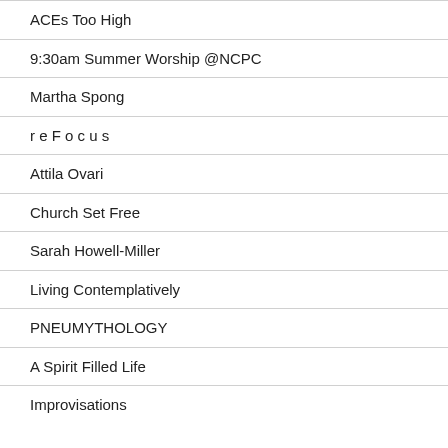ACEs Too High
9:30am Summer Worship @NCPC
Martha Spong
r e F o c u s
Attila Ovari
Church Set Free
Sarah Howell-Miller
Living Contemplatively
PNEUMYTHOLOGY
A Spirit Filled Life
Improvisations